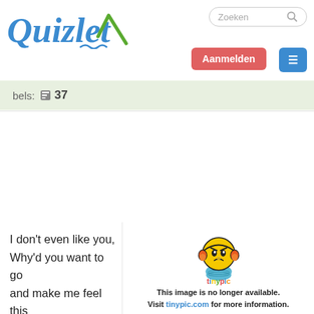[Figure (logo): Quizlet logo with stylized Q and checkmark]
[Figure (screenshot): Search box with placeholder text 'Zoeken' and search icon]
Aanmelden
≡
bels: 🖹 37
I don't even like you, Why'd you want to go and make me feel this way? And I don't understand what's happened, I keep saying things I never say. I can feel you watching,
[Figure (illustration): Tinypic sad emoji character with headphones and the tinypic logo below it. Text: This image is no longer available. Visit tinypic.com for more information.]